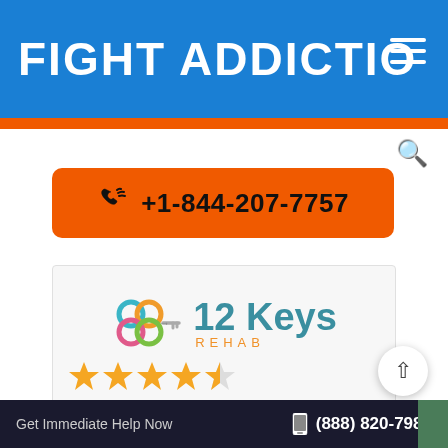FIGHT ADDICTIO ≡
+1-844-207-7757
[Figure (logo): 12 Keys Rehab logo with colorful interlocking circles and key icon]
[Figure (other): Star rating: 4 filled stars and 1 partial/empty star]
Get Immediate Help Now   (888) 820-7985